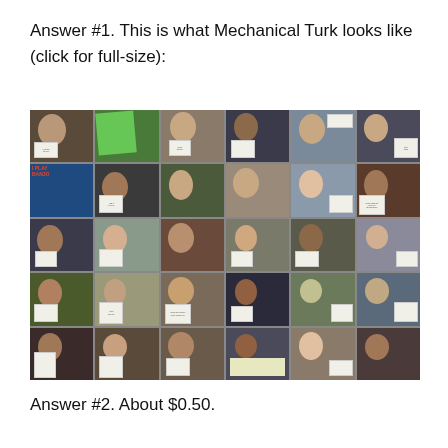Answer #1. This is what Mechanical Turk looks like (click for full-size):
[Figure (photo): Collage of approximately 30 people holding handwritten signs, arranged in a 6-column by 5-row grid. Each person appears to be a Mechanical Turk worker photographed via webcam holding a sign explaining why they use the platform.]
Answer #2. About $0.50.